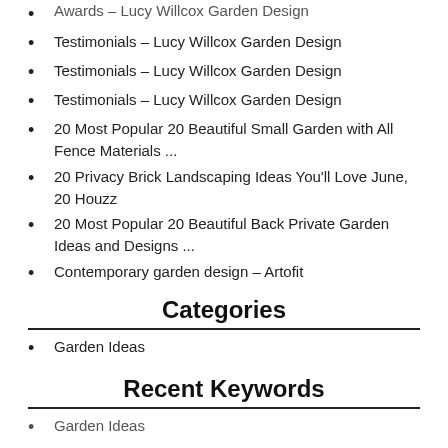Testimonials – Lucy Willcox Garden Design
Testimonials – Lucy Willcox Garden Design
Testimonials – Lucy Willcox Garden Design
20 Most Popular 20 Beautiful Small Garden with All Fence Materials ...
20 Privacy Brick Landscaping Ideas You'll Love June, 20 Houzz
20 Most Popular 20 Beautiful Back Private Garden Ideas and Designs ...
Contemporary garden design – Artofit
Categories
Garden Ideas
Recent Keywords
Garden Ideas